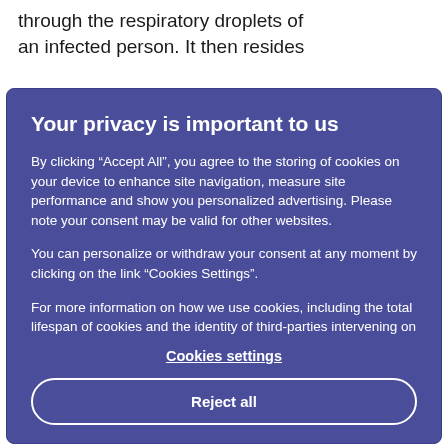through the respiratory droplets of an infected person. It then resides
Your privacy is important to us
By clicking “Accept All”, you agree to the storing of cookies on your device to enhance site navigation, measure site performance and show you personalized advertising. Please note your consent may be valid for other websites.
You can personalize or withdraw your consent at any moment by clicking on the link “Cookies Settings”.
For more information on how we use cookies, including the total lifespan of cookies and the identity of third-parties intervening on our website, please consult the cookies policy, available in the site footer.
Cookies settings
Reject all